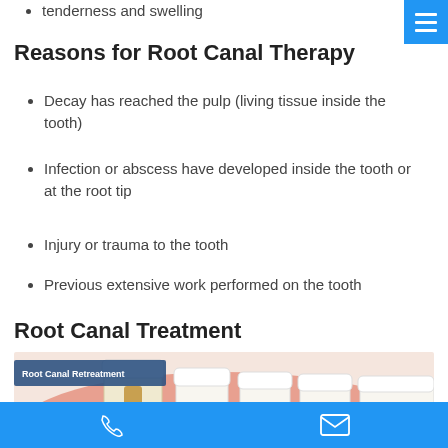tenderness and swelling
Reasons for Root Canal Therapy
Decay has reached the pulp (living tissue inside the tooth)
Infection or abscess have developed inside the tooth or at the root tip
Injury or trauma to the tooth
Previous extensive work performed on the tooth
Root Canal Treatment
[Figure (illustration): Medical illustration of root canal retreatment showing cross-section of teeth in gum with exposed root canal, labeled 'Root Canal Retreatment']